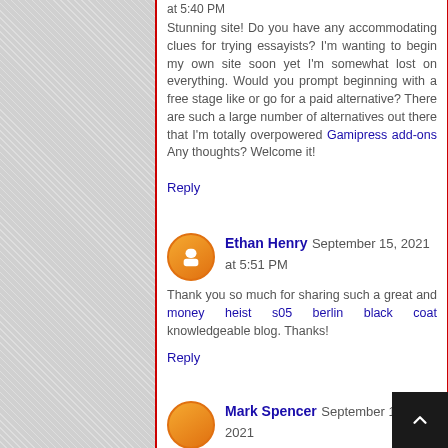at 5:40 PM
Stunning site! Do you have any accommodating clues for trying essayists? I'm wanting to begin my own site soon yet I'm somewhat lost on everything. Would you prompt beginning with a free stage like or go for a paid alternative? There are such a large number of alternatives out there that I'm totally overpowered Gamipress add-ons Any thoughts? Welcome it!
Reply
Ethan Henry September 15, 2021 at 5:51 PM
Thank you so much for sharing such a great and money heist s05 berlin black coat knowledgeable blog. Thanks!
Reply
Mark Spencer September 16, 2021